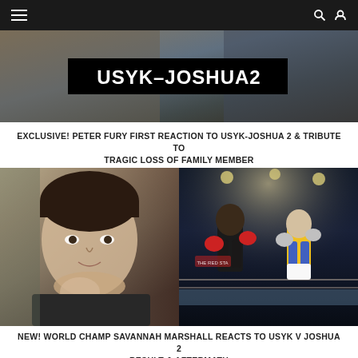Navigation bar with hamburger menu, search and user icons
[Figure (photo): Top image showing two people with a black banner overlay reading USYK-JOSHUA2]
EXCLUSIVE! PETER FURY FIRST REACTION TO USYK-JOSHUA 2 & TRIBUTE TO TRAGIC LOSS OF FAMILY MEMBER
[Figure (photo): Left: close-up photo of Savannah Marshall. Right: boxing match photo of Joshua vs Usyk in the ring with arena lights in background]
NEW! WORLD CHAMP SAVANNAH MARSHALL REACTS TO USYK V JOSHUA 2 RESULT & AFTERMATH